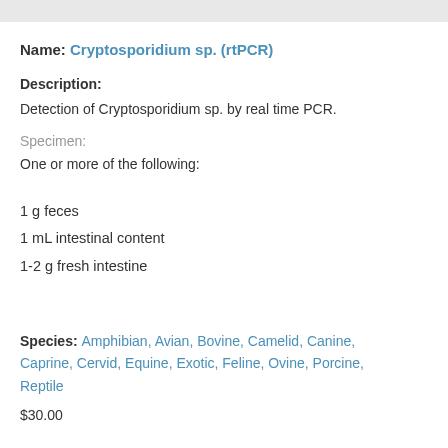Name: Cryptosporidium sp. (rtPCR)
Description:
Detection of Cryptosporidium sp. by real time PCR.
Specimen:
One or more of the following:
1 g feces
1 mL intestinal content
1-2 g fresh intestine
Species: Amphibian, Avian, Bovine, Camelid, Canine, Caprine, Cervid, Equine, Exotic, Feline, Ovine, Porcine, Reptile
$30.00